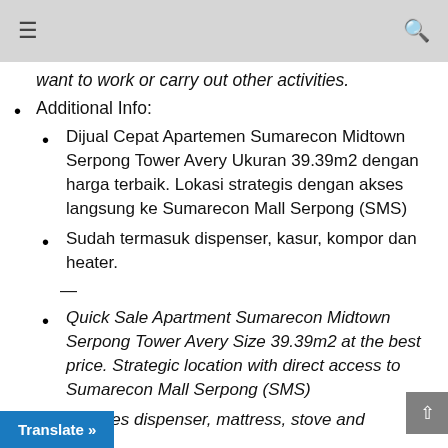≡  🔍
want to work or carry out other activities.
Additional Info:
Dijual Cepat Apartemen Sumarecon Midtown Serpong Tower Avery Ukuran 39.39m2 dengan harga terbaik. Lokasi strategis dengan akses langsung ke Sumarecon Mall Serpong (SMS)
Sudah termasuk dispenser, kasur, kompor dan heater.
Quick Sale Apartment Sumarecon Midtown Serpong Tower Avery Size 39.39m2 at the best price. Strategic location with direct access to Sumarecon Mall Serpong (SMS)
Includes dispenser, mattress, stove and
Translate »